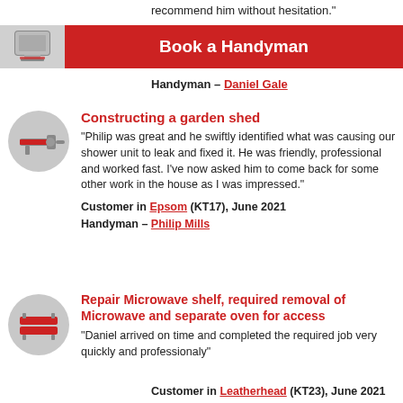recommend him without hesitation."
[Figure (illustration): Red banner with laptop/computer icon and text 'Book a Handyman']
Handyman – Daniel Gale
[Figure (illustration): Gray circle icon with caulking gun / sealant tool in red]
Constructing a garden shed
"Philip was great and he swiftly identified what was causing our shower unit to leak and fixed it. He was friendly, professional and worked fast. I've now asked him to come back for some other work in the house as I was impressed."
Customer in Epsom (KT17), June 2021
Handyman – Philip Mills
[Figure (illustration): Gray circle icon with two horizontal red bars (shelves/microwave symbol)]
Repair Microwave shelf, required removal of Microwave and separate oven for access
"Daniel arrived on time and completed the required job very quickly and professionaly"
Customer in Leatherhead (KT23), June 2021